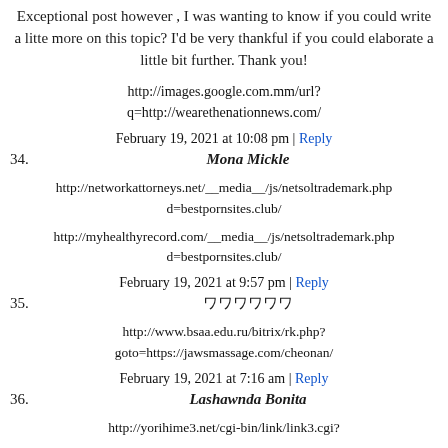Exceptional post however , I was wanting to know if you could write a litte more on this topic? I'd be very thankful if you could elaborate a little bit further. Thank you!
http://images.google.com.mm/url?q=http://wearethenationnews.com/
February 19, 2021 at 10:08 pm | Reply
34. Mona Mickle
http://networkattorneys.net/__media__/js/netsoltrademark.php d=bestpornsites.club/
http://myhealthyrecord.com/__media__/js/netsoltrademark.php d=bestpornsites.club/
February 19, 2021 at 9:57 pm | Reply
35. ᄋᄋᄋᄋᄋᄋ
http://www.bsaa.edu.ru/bitrix/rk.php?goto=https://jawsmassage.com/cheonan/
February 19, 2021 at 7:16 am | Reply
36. Lashawnda Bonita
http://yorihime3.net/cgi-bin/link/link3.cgi?